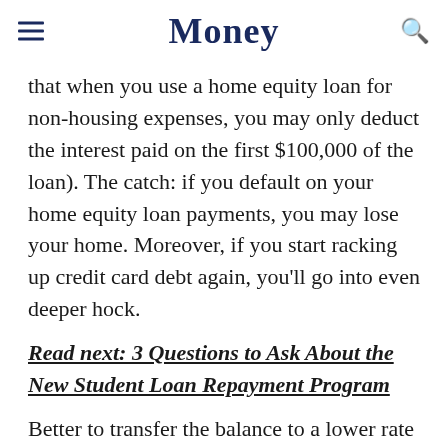Money
that when you use a home equity loan for non-housing expenses, you may only deduct the interest paid on the first $100,000 of the loan). The catch: if you default on your home equity loan payments, you may lose your home. Moreover, if you start racking up credit card debt again, you'll go into even deeper hock.
Read next: 3 Questions to Ask About the New Student Loan Repayment Program
Better to transfer the balance to a lower rate card and start dumping money toward your